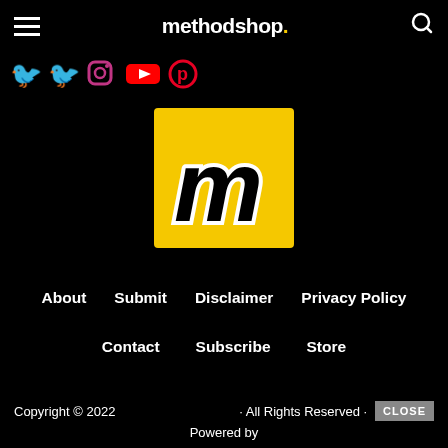methodshop.
[Figure (logo): Social media icons bar: Twitter (blue bird), Twitter (blue bird), Instagram (circle), YouTube (red), Pinterest (red/pink)]
[Figure (logo): Methodshop logo: yellow square with black lowercase bold italic 'm' with white stroke outline]
About
Submit
Disclaimer
Privacy Policy
Contact
Subscribe
Store
Copyright © 2022 · All Rights Reserved · Powered by